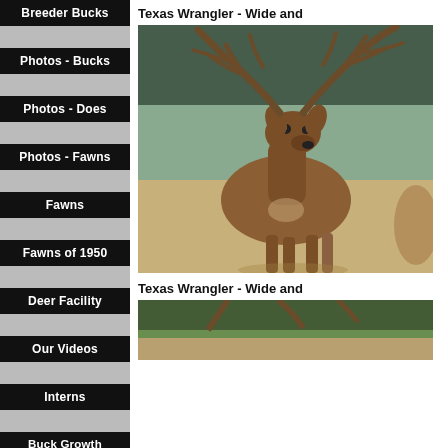Breeder Bucks
Photos - Bucks
Photos - Does
Photos - Fawns
Fawns
Fawns of 1950
Deer Facility
Our Videos
Interns
Buck Growth
Texas Wrangler - Wide and
[Figure (photo): A large whitetail buck with wide, massive antlers standing in a field facing the camera, with brush in the background.]
Texas Wrangler - Wide and
[Figure (photo): Partial view of another deer photo, bottom of the page.]